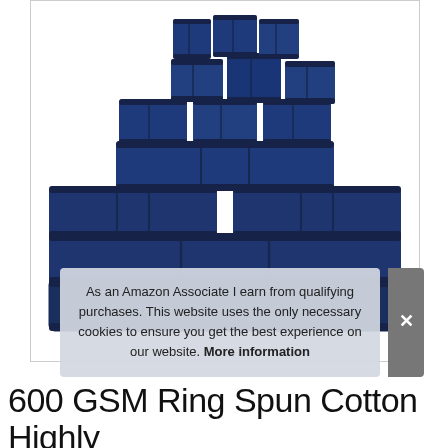[Figure (photo): Stack of navy blue towels arranged in a pyramid shape — small washcloths at top, hand towels in the middle rows, and large bath towels at the bottom, all folded neatly.]
As an Amazon Associate I earn from qualifying purchases. This website uses the only necessary cookies to ensure you get the best experience on our website. More information
600 GSM Ring Spun Cotton Highly